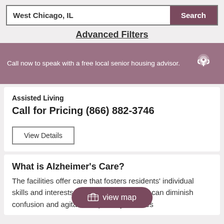West Chicago, IL
Search
Advanced Filters
Call now to speak with a free local senior housing advisor.
Assisted Living
Call for Pricing (866) 882-3746
View Details
What is Alzheimer's Care?
The facilities offer care that fosters residents' individual skills and interests in an environment that can diminish confusion and agitation. Specialty services
view map